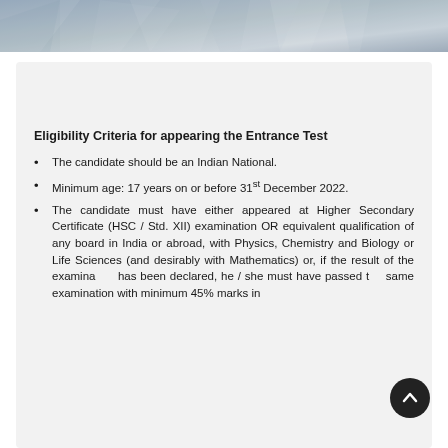[Figure (illustration): Decorative header banner with grey/blue geometric polygon pattern]
Eligibility Criteria for appearing the Entrance Test
The candidate should be an Indian National.
Minimum age: 17 years on or before 31st December 2022.
The candidate must have either appeared at Higher Secondary Certificate (HSC / Std. XII) examination OR equivalent qualification of any board in India or abroad, with Physics, Chemistry and Biology or Life Sciences (and desirably with Mathematics) or, if the result of the examination has been declared, he / she must have passed the same examination with minimum 45% marks in